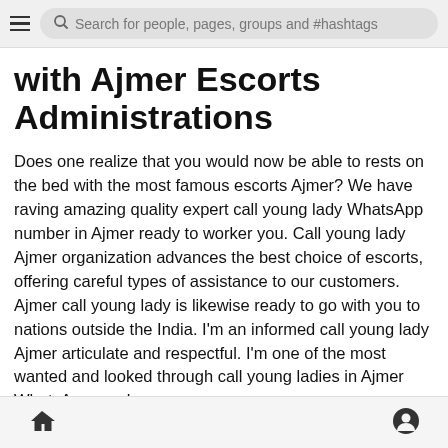Search for people, pages, groups and #hashtags
with Ajmer Escorts Administrations
Does one realize that you would now be able to rests on the bed with the most famous escorts Ajmer? We have raving amazing quality expert call young lady WhatsApp number in Ajmer ready to worker you. Call young lady Ajmer organization advances the best choice of escorts, offering careful types of assistance to our customers. Ajmer call young lady is likewise ready to go with you to nations outside the India. I'm an informed call young lady Ajmer articulate and respectful. I'm one of the most wanted and looked through call young ladies in Ajmer WhatsApp number.
Home | Profile